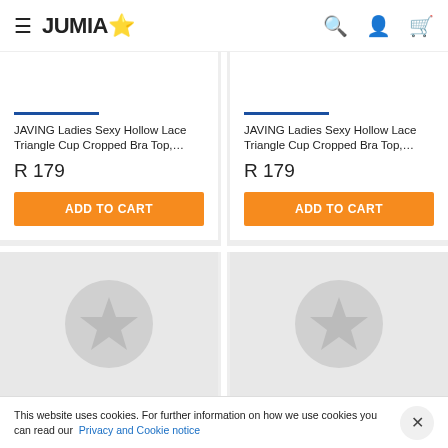JUMIA
JAVING Ladies Sexy Hollow Lace Triangle Cup Cropped Bra Top,…
R 179
ADD TO CART
JAVING Ladies Sexy Hollow Lace Triangle Cup Cropped Bra Top,…
R 179
ADD TO CART
[Figure (illustration): Jumia placeholder product image with star icon, left card]
[Figure (illustration): Jumia placeholder product image with star icon, right card]
PRICE: HIGH TO LOW
FILTERS (1)
This website uses cookies. For further information on how we use cookies you can read our Privacy and Cookie notice